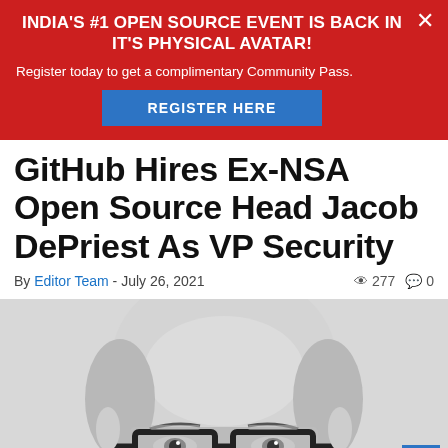INDIA'S #1 OPEN SOURCE EVENT IS BACK IN IT'S PHYSICAL AVATAR!
Register today to get a complimentary Community Pass.
REGISTER HERE
GitHub Hires Ex-NSA Open Source Head Jacob DePriest As VP Security
By Editor Team - July 26, 2021   277  0
[Figure (photo): Black and white close-up portrait photo of a man wearing thick-rimmed black glasses, with a shaved head, looking at the camera.]